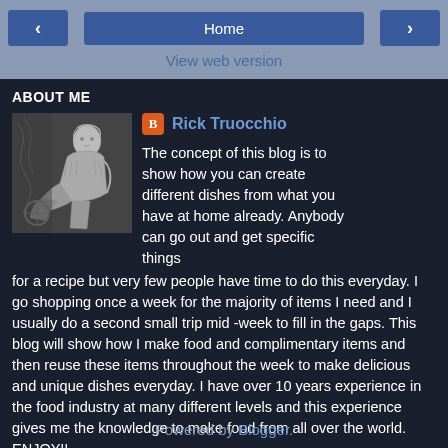Home
View web version
ABOUT ME
[Figure (illustration): Black and white engraving illustration of a classical scene with a figure seated]
Rick Truocchio
The concept of this blog is to show how you can create different dishes from what you have at home already. Anybody can go out and get specific things for a recipe but very few people have time to do this everyday. I go shopping once a week for the majority of items I need and I usually do a second small trip mid -week to fill in the gaps. This blog will show how I make food and complimentary items and then reuse these items throughout the week to make delicious and unique dishes everyday. I have over 10 years experience in the food industry at many different levels and this experience gives me the knowledge to make food from all over the world. ENJOY!!
View my complete profile
Powered by Blogger.